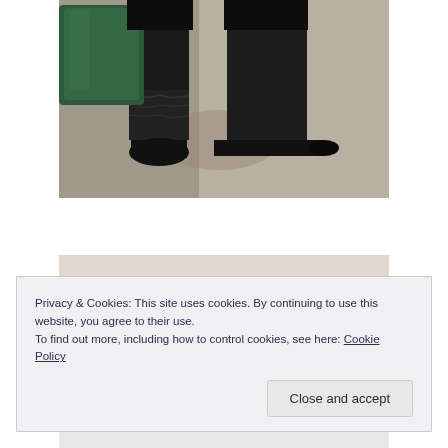[Figure (photo): Close-up photo of a person's legs wearing black leather knee-high boots, one boot slouched, with a dark green bag visible on the left side. Concrete ground surface visible.]
[Figure (photo): Partially visible photo below the cookie banner, appears to show a person with zebra-print pattern clothing, architectural background visible at top.]
Privacy & Cookies: This site uses cookies. By continuing to use this website, you agree to their use.
To find out more, including how to control cookies, see here: Cookie Policy
Close and accept